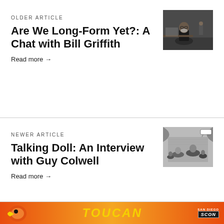OLDER ARTICLE
Are We Long-Form Yet?: A Chat with Bill Griffith
Read more →
[Figure (photo): Photo of an older man with white beard and glasses seated at a desk with artwork]
NEWER ARTICLE
Talking Doll: An Interview with Guy Colwell
Read more →
[Figure (photo): Black and white comic-style illustration showing a group of people in a dramatic scene]
TOUCAN (logo) SAN DIEGO SCON